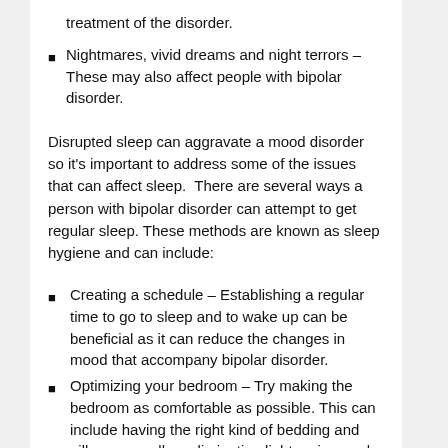Nightmares, vivid dreams and night terrors – These may also affect people with bipolar disorder.
Disrupted sleep can aggravate a mood disorder so it's important to address some of the issues that can affect sleep.  There are several ways a person with bipolar disorder can attempt to get regular sleep. These methods are known as sleep hygiene and can include:
Creating a schedule – Establishing a regular time to go to sleep and to wake up can be beneficial as it can reduce the changes in mood that accompany bipolar disorder.
Optimizing your bedroom – Try making the bedroom as comfortable as possible. This can include having the right kind of bedding and pillows as well as eliminating light, noise, and other distractions.
Limiting activities – The bedroom is a place reserved for sleeping. Try to limit other activities, such as